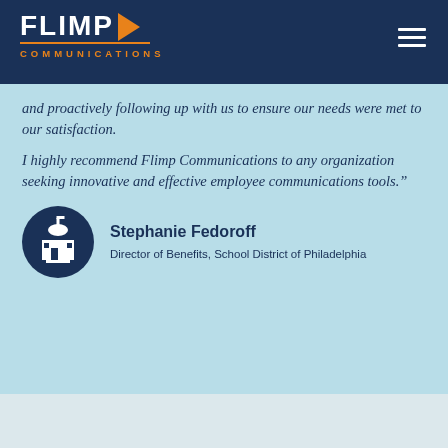[Figure (logo): Flimp Communications logo with play button triangle in orange, white text FLIMP, orange underline, and COMMUNICATIONS in orange below]
and proactively following up with us to ensure our needs were met to our satisfaction.
I highly recommend Flimp Communications to any organization seeking innovative and effective employee communications tools."
[Figure (illustration): Circular dark navy avatar with white building/school icon]
Stephanie Fedoroff
Director of Benefits, School District of Philadelphia